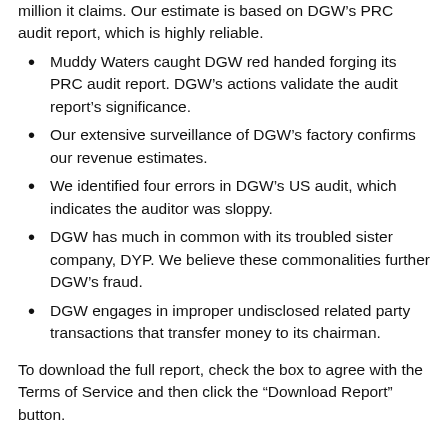million it claims. Our estimate is based on DGW's PRC audit report, which is highly reliable.
Muddy Waters caught DGW red handed forging its PRC audit report. DGW's actions validate the audit report's significance.
Our extensive surveillance of DGW's factory confirms our revenue estimates.
We identified four errors in DGW's US audit, which indicates the auditor was sloppy.
DGW has much in common with its troubled sister company, DYP. We believe these commonalities further DGW's fraud.
DGW engages in improper undisclosed related party transactions that transfer money to its chairman.
To download the full report, check the box to agree with the Terms of Service and then click the “Download Report” button.